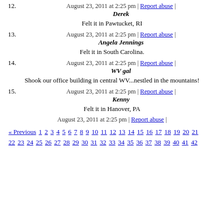12. August 23, 2011 at 2:25 pm | Report abuse | Derek
Felt it in Pawtucket, RI
13. August 23, 2011 at 2:25 pm | Report abuse | Angela Jennings
Felt it in South Carolina.
14. August 23, 2011 at 2:25 pm | Report abuse | WV gal
Shook our office building in central WV...nestled in the mountains!
15. August 23, 2011 at 2:25 pm | Report abuse | Kenny
Felt it in Hanover, PA
August 23, 2011 at 2:25 pm | Report abuse |
« Previous 1 2 3 4 5 6 7 8 9 10 11 12 13 14 15 16 17 18 19 20 21 22 23 24 25 26 27 28 29 30 31 32 33 34 35 36 37 38 39 40 41 42